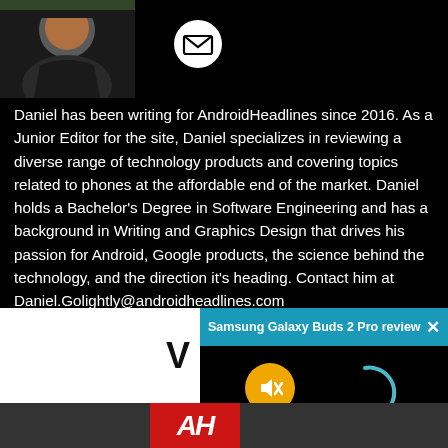[Figure (photo): Profile photo of a man in a black hoodie, partially visible in top-left corner of dark background]
[Figure (other): White circular email/envelope icon button]
Daniel has been writing for AndroidHeadlines since 2016. As a Junior Editor for the site, Daniel specializes in reviewing a diverse range of technology products and covering topics related to phones at the affordable end of the market. Daniel holds a Bachelor's Degree in Software Engineering and has a background in Writing and Graphics Design that drives his passion for Android, Google products, the science behind the technology, and the direction it's heading. Contact him at Daniel.Golightly@androidheadlines.com
[Figure (screenshot): Browser tab / video thumbnail showing Samsung Galaxy Buds 2 Pro review page, with a white thumbnail on left with letter V, a teal browser bar showing 'Samsung Galaxy Buds 2 Pro review | Gr...' with an X close button, a muted (yellow) icon, a teal loading spinner arc, and the AndroidHeadlines (AH) red logo at bottom]